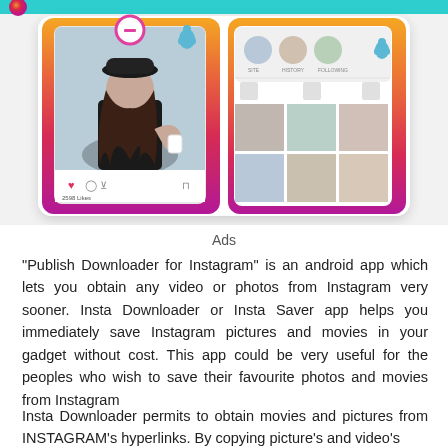[Figure (screenshot): App screenshot showing Instagram-like interface with a woman taking a selfie wearing a black hat and two phone screens showing Instagram UI with gradient background in orange-pink-purple colors]
Ads
“Publish Downloader for Instagram” is an android app which lets you obtain any video or photos from Instagram very sooner. Insta Downloader or Insta Saver app helps you immediately save Instagram pictures and movies in your gadget without cost. This app could be very useful for the peoples who wish to save their favourite photos and movies from Instagram
Insta Downloader permits to obtain movies and pictures from INSTAGRAM’s hyperlinks. By copying picture’s and video’s